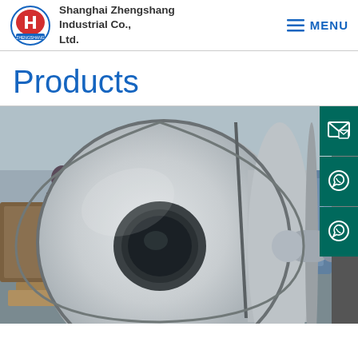Shanghai Zhengshang Industrial Co., Ltd. | MENU
Products
[Figure (photo): Large white-painted steel coil/roll on industrial machinery in a warehouse. The coil is cylindrical, viewed from a slight angle showing the hollow center. A worker is partially visible in the background.]